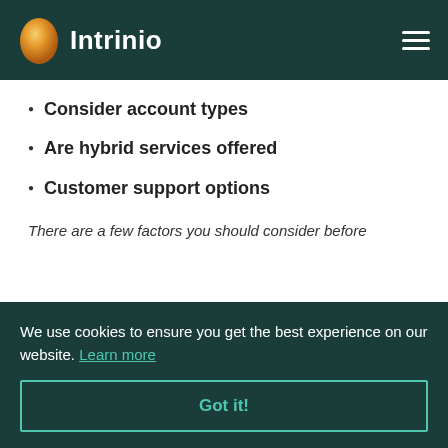Intrinio
Consider account types
Are hybrid services offered
Customer support options
There are a few factors you should consider before
We use cookies to ensure you get the best experience on our website. Learn more
Got it!
Explore the exact services each digital advisor is